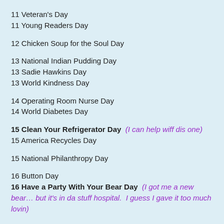11 Veteran's Day
11 Young Readers Day
12 Chicken Soup for the Soul Day
13 National Indian Pudding Day
13 Sadie Hawkins Day
13 World Kindness Day
14 Operating Room Nurse Day
14 World Diabetes Day
15 Clean Your Refrigerator Day  (I can help wiff dis one)
15 America Recycles Day
15 National Philanthropy Day
16 Button Day
16 Have a Party With Your Bear Day  (I got me a new bear… but it's in da stuff hospital.  I guess I gave it too much lovin)